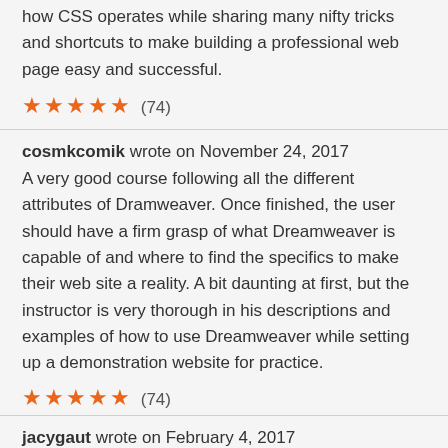how CSS operates while sharing many nifty tricks and shortcuts to make building a professional web page easy and successful.
★★★★★ (74)
cosmkcomik wrote on November 24, 2017
A very good course following all the different attributes of Dramweaver. Once finished, the user should have a firm grasp of what Dreamweaver is capable of and where to find the specifics to make their web site a reality. A bit daunting at first, but the instructor is very thorough in his descriptions and examples of how to use Dreamweaver while setting up a demonstration website for practice.
★★★★★ (74)
jacygaut wrote on February 4, 2017
Very complete, hi performance of the trainer. I love these vidéos. I'm waiting now for Dreamweaver CC, please!
★★★★★ (1)
Arthur Spooner wrote on September 11, 2015
Lots of good information here but as a WordPress video it's out of date. There is still relevant information regarding the general